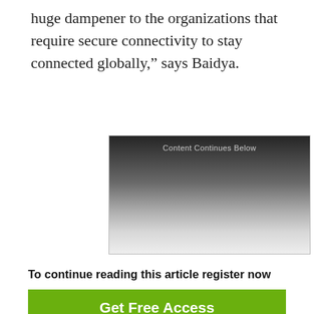huge dampener to the organizations that require secure connectivity to stay connected globally,” says Baidya.
[Figure (other): Advertisement placeholder box with dark-to-light gradient and text 'Content Continues Below']
To continue reading this article register now
Get Free Access
Learn More  Existing Users  Sign In
💡  7 hot cybersecurity trends (and 2 going cold)